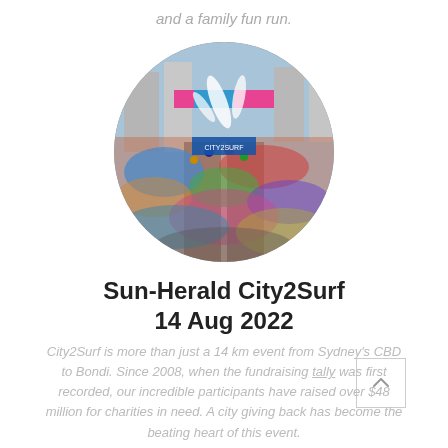and a family fun run.
[Figure (photo): Circular cropped photograph of a large crowd of runners at the City2Surf race start line in Sydney's CBD, with colorful banners and city buildings in the background.]
Sun-Herald City2Surf
14 Aug 2022
City2Surf is more than just a 14 km event from Sydney's CBD to Bondi. Since 2008, when the fundraising tally was first recorded, our incredible participants have raised over $48 million for charities in need. A city giving back has become the beating heart of this event.